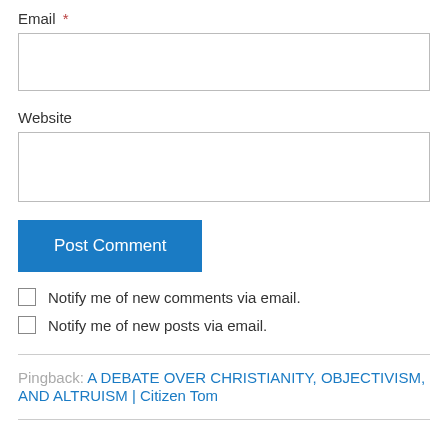Email *
Website
Post Comment
Notify me of new comments via email.
Notify me of new posts via email.
Pingback: A DEBATE OVER CHRISTIANITY, OBJECTIVISM, AND ALTRUISM | Citizen Tom